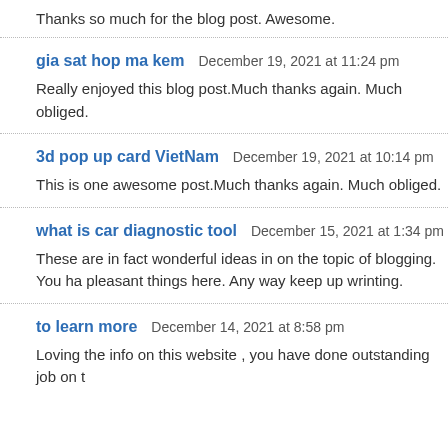Thanks so much for the blog post. Awesome.
gia sat hop ma kem  December 19, 2021 at 11:24 pm
Really enjoyed this blog post.Much thanks again. Much obliged.
3d pop up card VietNam  December 19, 2021 at 10:14 pm
This is one awesome post.Much thanks again. Much obliged.
what is car diagnostic tool  December 15, 2021 at 1:34 pm
These are in fact wonderful ideas in on the topic of blogging. You ha pleasant things here. Any way keep up wrinting.
to learn more  December 14, 2021 at 8:58 pm
Loving the info on this website , you have done outstanding job on t